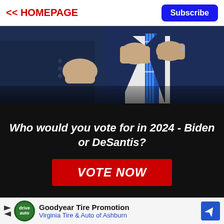<< HOMEPAGE  Subscribe
[Figure (photo): Two men in dark suits, one adjusting a blue striped tie, photographed from the neck down]
Who would you vote for in 2024 - Biden or DeSantis?
VOTE NOW
[Figure (logo): RAWSTORY logo on red banner with close button]
[Figure (infographic): Goodyear Tire Promotion - Virginia Tire & Auto of Ashburn advertisement]